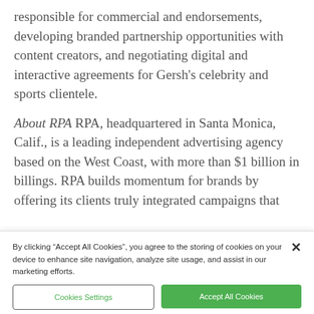responsible for commercial and endorsements, developing branded partnership opportunities with content creators, and negotiating digital and interactive agreements for Gersh's celebrity and sports clientele.
About RPA RPA, headquartered in Santa Monica, Calif., is a leading independent advertising agency based on the West Coast, with more than $1 billion in billings. RPA builds momentum for brands by offering its clients truly integrated campaigns that
By clicking “Accept All Cookies”, you agree to the storing of cookies on your device to enhance site navigation, analyze site usage, and assist in our marketing efforts.
Cookies Settings
Accept All Cookies